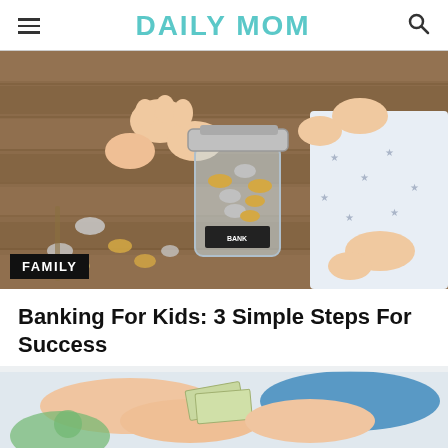DAILY MOM
[Figure (photo): Child sitting on wooden floor putting coins into a glass jar labeled 'bank', with coins scattered around]
FAMILY
Banking For Kids: 3 Simple Steps For Success
[Figure (photo): Two children exchanging money/bills, with green piggy bank visible in background]